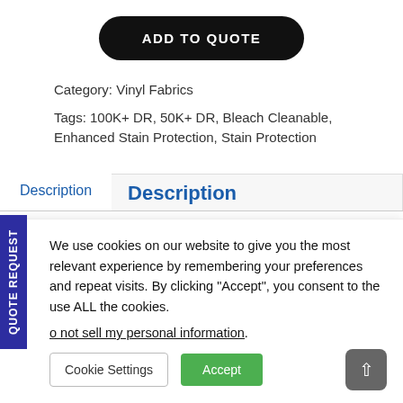[Figure (other): Black rounded rectangle button with white uppercase text 'ADD TO QUOTE']
Category: Vinyl Fabrics
Tags: 100K+ DR, 50K+ DR, Bleach Cleanable, Enhanced Stain Protection, Stain Protection
Description
Description
We use cookies on our website to give you the most relevant experience by remembering your preferences and repeat visits. By clicking “Accept”, you consent to the use ALL the cookies.
Do not sell my personal information.